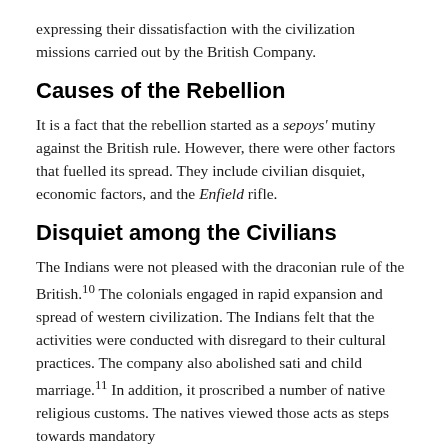expressing their dissatisfaction with the civilization missions carried out by the British Company.
Causes of the Rebellion
It is a fact that the rebellion started as a sepoys' mutiny against the British rule. However, there were other factors that fuelled its spread. They include civilian disquiet, economic factors, and the Enfield rifle.
Disquiet among the Civilians
The Indians were not pleased with the draconian rule of the British.10 The colonials engaged in rapid expansion and spread of western civilization. The Indians felt that the activities were conducted with disregard to their cultural practices. The company also abolished sati and child marriage.11 In addition, it proscribed a number of native religious customs. The natives viewed those acts as steps towards mandatory